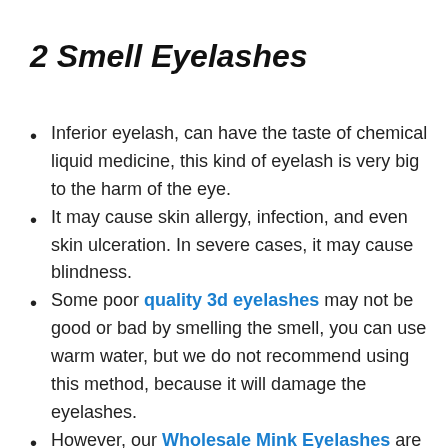2 Smell Eyelashes
Inferior eyelash, can have the taste of chemical liquid medicine, this kind of eyelash is very big to the harm of the eye.
It may cause skin allergy, infection, and even skin ulceration. In severe cases, it may cause blindness.
Some poor quality 3d eyelashes may not be good or bad by smelling the smell, you can use warm water, but we do not recommend using this method, because it will damage the eyelashes.
However, our Wholesale Mink Eyelashes are tasteless, non-irritating, very green and healthy.
We use physical high temperature sterile sterilizing method, harmless to the body, very suitable for pregnant women and ...